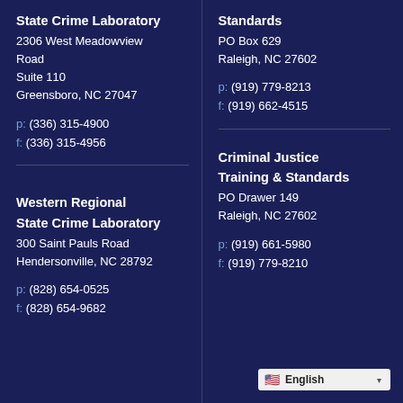State Crime Laboratory
2306 West Meadowview Road
Suite 110
Greensboro, NC 27047
p: (336) 315-4900
f: (336) 315-4956
Western Regional State Crime Laboratory
300 Saint Pauls Road
Hendersonville, NC 28792
p: (828) 654-0525
f: (828) 654-9682
Standards
PO Box 629
Raleigh, NC 27602
p: (919) 779-8213
f: (919) 662-4515
Criminal Justice Training & Standards
PO Drawer 149
Raleigh, NC 27602
p: (919) 661-5980
f: (919) 779-8210